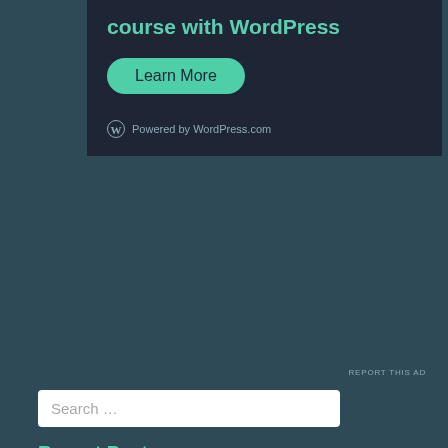[Figure (screenshot): WordPress.com advertisement banner with dark background (#1e2535). Shows text 'course with WordPress' in teal/green color, a teal 'Learn More' button with rounded corners, and 'Powered by WordPress.com' text with WordPress logo at bottom.]
REPORT THIS AD
Search …
Recent Posts
Saturday Stitching: Haul!
Free Pattern Friday: Tablecloth Pt 6
LIVE Bird Feeder Cam (4K) Gettysburg PA, over 30